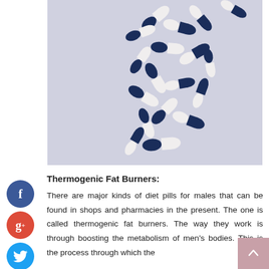[Figure (photo): Blue and white capsule pills scattered on a light grey/white surface, photographed from above.]
Thermogenic Fat Burners:
There are major kinds of diet pills for males that can be found in shops and pharmacies in the present. The one is called thermogenic fat burners. The way they work is through boosting the metabolism of men's bodies. This is the process through which the